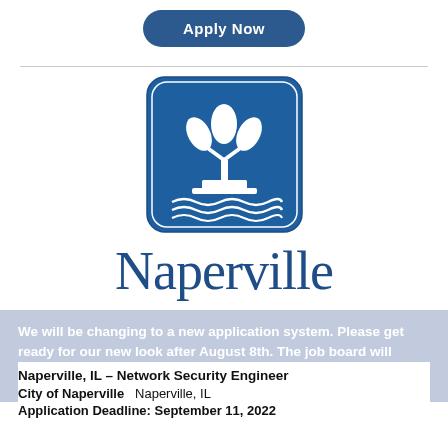[Figure (other): Apply Now button — dark blue rounded rectangle with white bold text]
[Figure (logo): City of Naperville logo: blue rounded square containing white stylized tree with leaves above, fountain/cityscape below, and wavy water lines at bottom]
Naperville
We will be changing to a new application system. Please get ready for our new look after August 8th. The job board will remain active and have the same look. Thank you!
Naperville, IL – Network Security Engineer
City of Naperville   Naperville, IL
Application Deadline: September 11, 2022